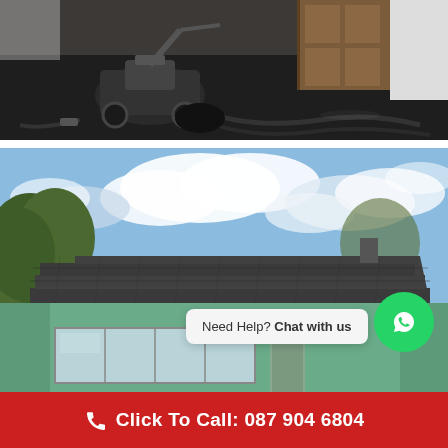[Figure (photo): Roofing equipment and machinery on a dark surface, with cables and hoses, inside what appears to be a garage or storage area. Brown wooden door and white wall visible in background.]
[Figure (photo): Exterior view of a residential bungalow with a newly laid dark grey tiled roof. Blue sky with white clouds in the background. Green trees visible on the left. The house has green-painted walls and large windows.]
Need Help? Chat with us
Click To Call: 087 904 6804